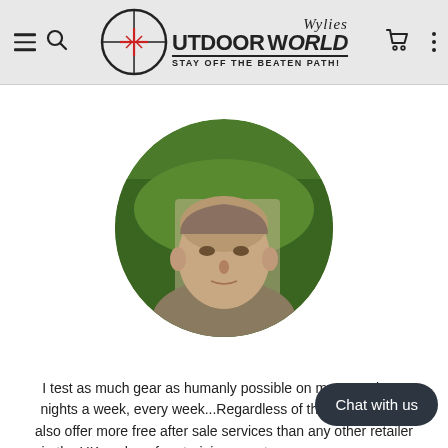[Figure (logo): Wylies Outdoor World logo with crosshair scope sight and tagline 'Stay Off The Beaten Path!']
[Figure (photo): Circular cropped headshot of a bald/shaved-head man smiling slightly, outdoors with green foliage in background]
I test as much gear as humanly possible on my own trips 4 nights a week, every week...Regardless of the weather. We also offer more free after sale services than any other retailer in the UK such as free training, one to one coaching, group meets and product demos, with the cheapest prices on sales! When you buy from us rest assured that our recommendations have been used heavily in rain, windy
[Figure (screenshot): Chat with us button overlay in dark rounded rectangle]